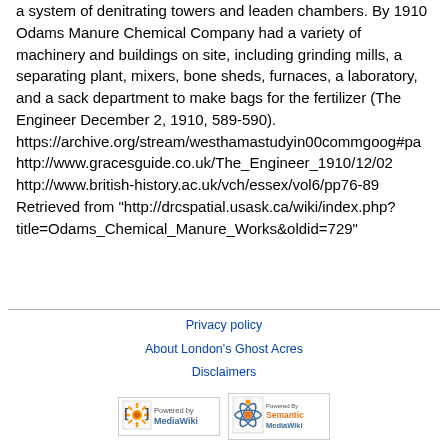a system of denitrating towers and leaden chambers. By 1910 Odams Manure Chemical Company had a variety of machinery and buildings on site, including grinding mills, a separating plant, mixers, bone sheds, furnaces, a laboratory, and a sack department to make bags for the fertilizer (The Engineer December 2, 1910, 589-590). https://archive.org/stream/westhamastudyin00commgoog#pa http://www.gracesguide.co.uk/The_Engineer_1910/12/02 http://www.british-history.ac.uk/vch/essex/vol6/pp76-89 Retrieved from "http://drcspatial.usask.ca/wiki/index.php?title=Odams_Chemical_Manure_Works&oldid=729"
Privacy policy
About London's Ghost Acres
Disclaimers